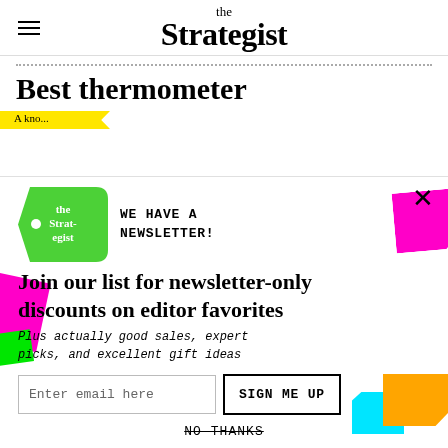the Strategist
Best thermometer
[Figure (infographic): Newsletter signup overlay for The Strategist with a green price-tag logo, colorful paper-cutout decorations (magenta, green, orange, cyan), email input field, SIGN ME UP button, and NO THANKS strikethrough link.]
WE HAVE A NEWSLETTER!
Join our list for newsletter-only discounts on editor favorites
Plus actually good sales, expert picks, and excellent gift ideas
Enter email here
SIGN ME UP
NO THANKS